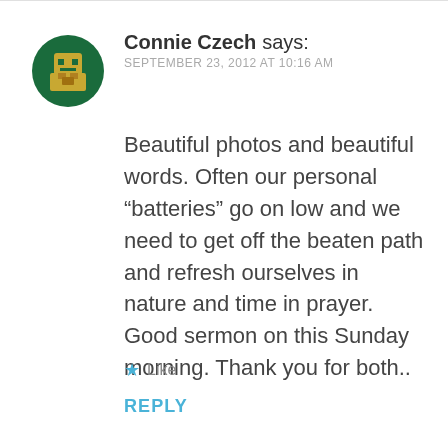[Figure (illustration): Circular avatar icon with dark green background featuring a yellow/gold pixel-art character resembling a face or game sprite]
Connie Czech says:
SEPTEMBER 23, 2012 AT 10:16 AM
Beautiful photos and beautiful words. Often our personal “batteries” go on low and we need to get off the beaten path and refresh ourselves in nature and time in prayer. Good sermon on this Sunday morning. Thank you for both..
★ Like
REPLY